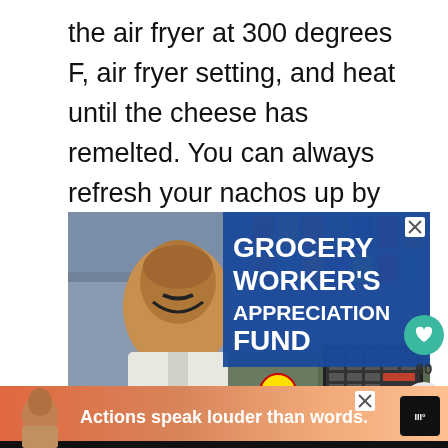the air fryer at 300 degrees F, air fryer setting, and heat until the cheese has remelted. You can always refresh your nachos up by adding more cheese and toppings.
[Figure (photo): Advertisement for Grocery Worker's Appreciation Fund showing a smiling grocery worker in an apron at a checkout counter, with bold white text on a blue background reading 'GROCERY WORKER'S APPRECIATION FUND'. A Kroger logo and United badge appear at the bottom.]
[Figure (photo): Bottom banner advertisement with a salmon/pink gradient background showing a person and the text 'Actions speak louder than words.' with an X close button and a dark logo icon on the right.]